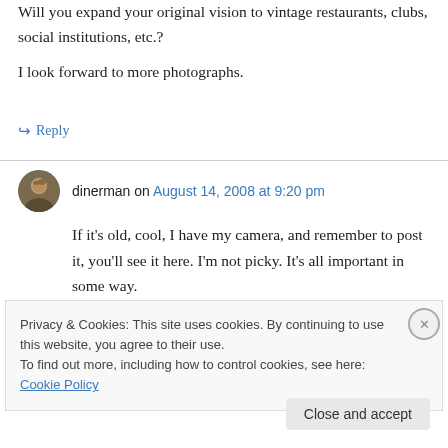Will you expand your original vision to vintage restaurants, clubs, social institutions, etc.?
I look forward to more photographs.
↳ Reply
dinerman on August 14, 2008 at 9:20 pm
If it's old, cool, I have my camera, and remember to post it, you'll see it here. I'm not picky. It's all important in some way.
Privacy & Cookies: This site uses cookies. By continuing to use this website, you agree to their use.
To find out more, including how to control cookies, see here: Cookie Policy
Close and accept